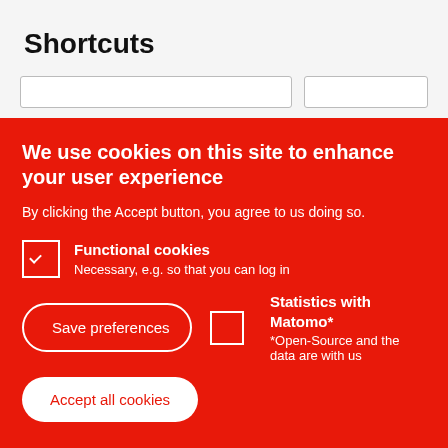Shortcuts
We use cookies on this site to enhance your user experience
By clicking the Accept button, you agree to us doing so.
Functional cookies
Necessary, e.g. so that you can log in
Statistics with Matomo*
*Open-Source and the data are with us
Save preferences
Accept all cookies